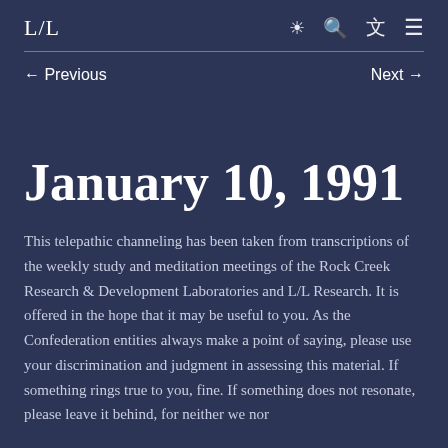L/L
← Previous   Next →
January 10, 1991
This telepathic channeling has been taken from transcriptions of the weekly study and meditation meetings of the Rock Creek Research & Development Laboratories and L/L Research. It is offered in the hope that it may be useful to you. As the Confederation entities always make a point of saying, please use your discrimination and judgment in assessing this material. If something rings true to you, fine. If something does not resonate, please leave it behind, for neither we nor